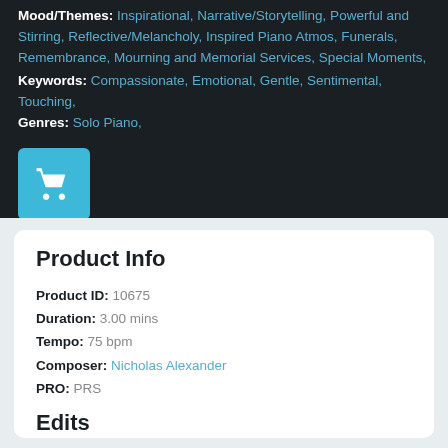Mood/Themes: Inspirational, Narrative/Storytelling, Powerful and Stirring, Reflective/Melancholy, Inspired Piano Atmos, Funerals, Remembrance, Mourning and Memorial Services, Special Moments,
Keywords: Compassionate, Emotional, Gentle, Sentimental, Touching,
Genres: Solo Piano,
[Figure (other): Teal/cyan shopping cart button icon on dark background]
Product Info
Product ID: 10675
Duration: 3.00 mins
Tempo: 75 bpm
Composer: Nicholas Alexander
PRO: PRS
Edits